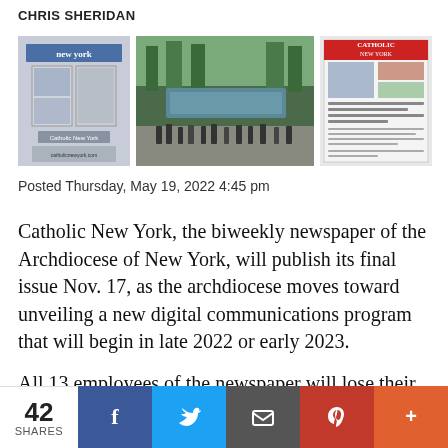CHRIS SHERIDAN
[Figure (photo): Three thumbnail photos: left shows a Catholic New York storefront/sign, center shows a crowd at what appears to be a memorial or outdoor event, right shows the front page of Catholic New York newspaper]
Posted Thursday, May 19, 2022 4:45 pm
Catholic New York, the biweekly newspaper of the Archdiocese of New York, will publish its final issue Nov. 17, as the archdiocese moves toward unveiling a new digital communications program that will begin in late 2022 or early 2023.
All 13 employees of the newspaper will lose their jobs.
The news was announced publicly in a memo to archdiocesan employees, including those at the New York Catholic Center in Manhattan and…
42 SHARES | Facebook | Twitter | Email | Pinterest | More